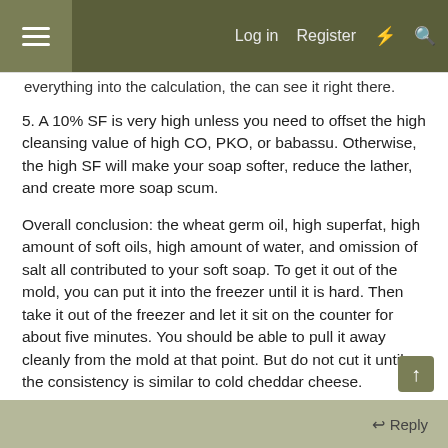Log in  Register
everything into the calculation, the can see it right there.
5. A 10% SF is very high unless you need to offset the high cleansing value of high CO, PKO, or babassu. Otherwise, the high SF will make your soap softer, reduce the lather, and create more soap scum.
Overall conclusion: the wheat germ oil, high superfat, high amount of soft oils, high amount of water, and omission of salt all contributed to your soft soap. To get it out of the mold, you can put it into the freezer until it is hard. Then take it out of the freezer and let it sit on the counter for about five minutes. You should be able to pull it away cleanly from the mold at that point. But do not cut it until the consistency is similar to cold cheddar cheese.